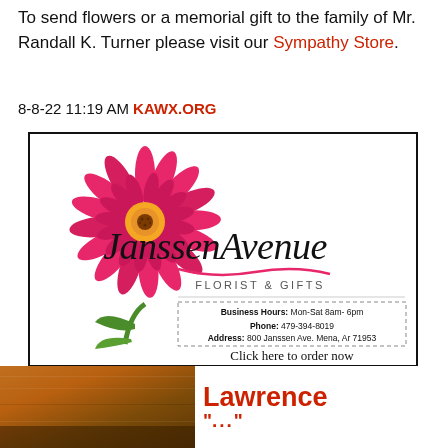To send flowers or a memorial gift to the family of Mr. Randall K. Turner please visit our Sympathy Store.
8-8-22 11:19 AM KAWX.ORG
[Figure (logo): Janssen Avenue Florist & Gifts advertisement with pink gerbera daisy flower logo, business hours Mon-Sat 8am-6pm, Phone: 479-394-8019, Address: 800 Janssen Ave. Mena, Ar 71953, Click here to order now]
[Figure (photo): Bottom strip showing a wooden/brown textured image on the left and Lawrence text in red on the right with quotation marks beginning below]